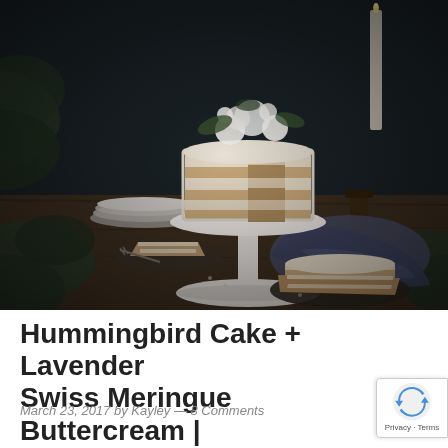[Figure (photo): Dark moody food photography of a layered hummingbird cake on a white pedestal cake stand on a rustic wooden table, decorated with white flowers on top, with two slices of cake on dark plates in the foreground, candles and a blue/grey cloth napkin visible, green foliage around the edges.]
Hummingbird Cake + Lavender Swiss Meringue Buttercream |
March 23, 2017 by Kayley — 8 Comments